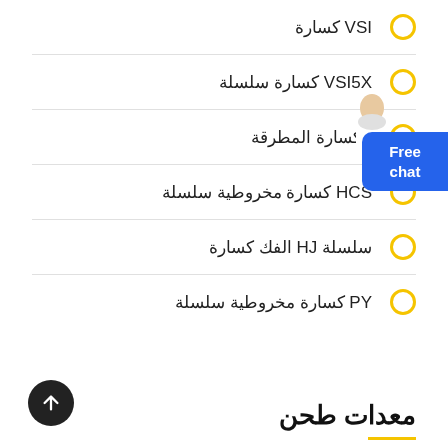VSI كسارة
VSI5X كسارة سلسلة
الكسارة المطرقة
HCS كسارة مخروطية سلسلة
سلسلة HJ الفك كسارة
PY كسارة مخروطية سلسلة
معدات طحن